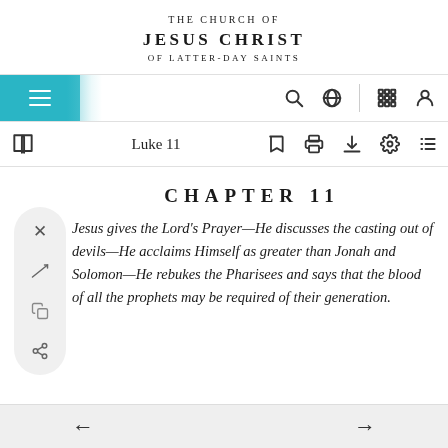THE CHURCH OF JESUS CHRIST OF LATTER-DAY SAINTS
[Figure (screenshot): Navigation bar with hamburger menu on teal background, search icon, globe icon, grid icon, and person icon]
[Figure (screenshot): Toolbar showing book icon, Luke 11 title, bookmark, print, download, settings, and list icons]
CHAPTER 11
Jesus gives the Lord's Prayer—He discusses the casting out of devils—He acclaims Himself as greater than Jonah and Solomon—He rebukes the Pharisees and says that the blood of all the prophets may be required of their generation.
[Figure (screenshot): Bottom navigation bar with left and right arrow buttons]